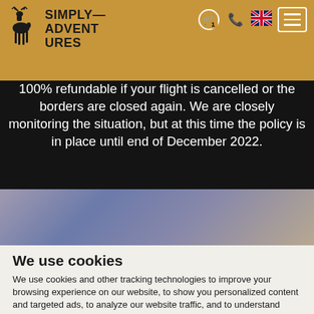Simply Adventures – website header with logo, cart icon, phone icon, UK flag, and hamburger menu
We understand that Covid-19 might impact travel plans in the future. To provide you more flexibility, your deposit is 100% refundable if your flight is cancelled or the borders are closed again. We are closely monitoring the situation, but at this time the policy is in place until end of December 2022.
[Figure (photo): Blurred gradient purple-brown landscape band]
We use cookies
We use cookies and other tracking technologies to improve your browsing experience on our website, to show you personalized content and targeted ads, to analyze our website traffic, and to understand where our visitors are coming from.